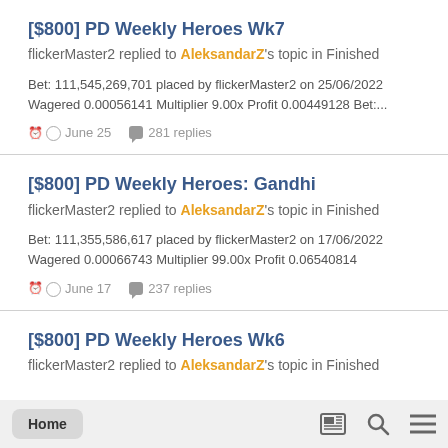[$800] PD Weekly Heroes Wk7
flickerMaster2 replied to AleksandarZ's topic in Finished
Bet: 111,545,269,701 placed by flickerMaster2 on 25/06/2022
Wagered 0.00056141 Multiplier 9.00x Profit 0.00449128 Bet:...
June 25   281 replies
[$800] PD Weekly Heroes: Gandhi
flickerMaster2 replied to AleksandarZ's topic in Finished
Bet: 111,355,586,617 placed by flickerMaster2 on 17/06/2022
Wagered 0.00066743 Multiplier 99.00x Profit 0.06540814
June 17   237 replies
[$800] PD Weekly Heroes Wk6
flickerMaster2 replied to AleksandarZ's topic in Finished
Home